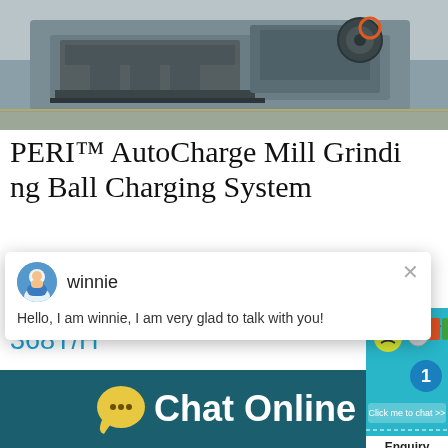[Figure (photo): Industrial grinding machine (crusher/ball mill) on a wooden pallet in a warehouse, gray metal structure, orange circle marking visible]
PERI™ AutoCharge Mill Grinding Ball Charging System
arging grinding balls will allow your mill to r t
Capacity
368T/H
[Figure (screenshot): Chat popup with avatar of winnie (customer service agent), name 'winnie', message 'Hello, I am winnie, I am very glad to talk with you!']
[Figure (infographic): Chat Online button bar at bottom with yellow speech bubble icon and white text 'Chat Online' on dark teal background]